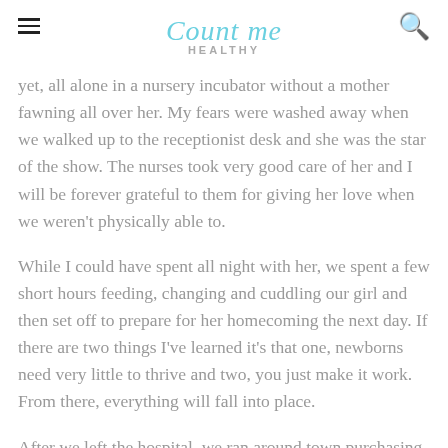Count me HEALTHY
yet, all alone in a nursery incubator without a mother fawning all over her. My fears were washed away when we walked up to the receptionist desk and she was the star of the show. The nurses took very good care of her and I will be forever grateful to them for giving her love when we weren't physically able to.
While I could have spent all night with her, we spent a few short hours feeding, changing and cuddling our girl and then set off to prepare for her homecoming the next day. If there are two things I've learned it's that one, newborns need very little to thrive and two, you just make it work. From there, everything will fall into place.
After we left the hospital, we ran around town purchasing the basics (for the most part): a car seat,